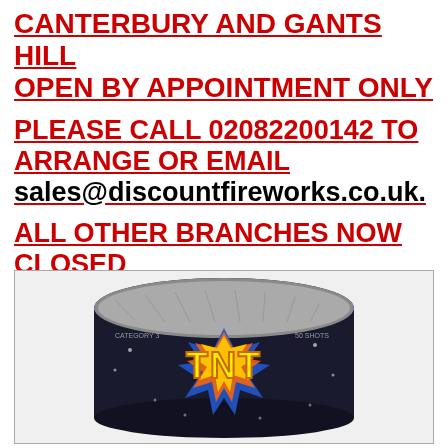CANTERBURY AND GANTS HILL OPEN BY APPOINTMENT ONLY
PLEASE CALL 02082200142 TO ARRANGE OR EMAIL sales@discountfireworks.co.uk.
ALL OTHER BRANCHES NOW CLOSED
[Figure (photo): Photo of a TNT fireworks cake product in dark packaging with silver foil top and colorful TNT logo label]